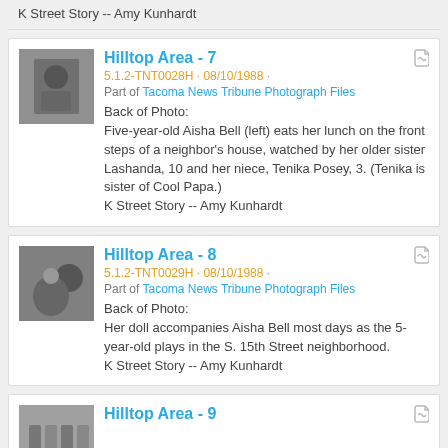K Street Story -- Amy Kunhardt
Hilltop Area - 7
5.1.2-TNT0028H · 08/10/1988 ·
Part of Tacoma News Tribune Photograph Files
Back of Photo:
Five-year-old Aisha Bell (left) eats her lunch on the front steps of a neighbor's house, watched by her older sister Lashanda, 10 and her niece, Tenika Posey, 3. (Tenika is sister of Cool Papa.)
K Street Story -- Amy Kunhardt
Hilltop Area - 8
5.1.2-TNT0029H · 08/10/1988 ·
Part of Tacoma News Tribune Photograph Files
Back of Photo:
Her doll accompanies Aisha Bell most days as the 5-year-old plays in the S. 15th Street neighborhood.
K Street Story -- Amy Kunhardt
Hilltop Area - 9